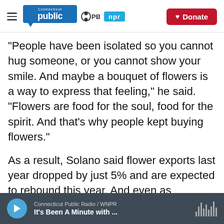Connecticut Public | PBS | npr | Donate
"People have been isolated so you cannot hug someone, or you cannot show your smile. And maybe a bouquet of flowers is a way to express that feeling," he said. "Flowers are food for the soul, food for the spirit. And that's why people kept buying flowers."
As a result, Solano said flower exports last year dropped by just 5% and are expected to rebound this year. And even as Colombia's unemployment rate nearly doubled last year to 20.2%, almost all of the country's 140,000 flower workers kept their jobs.
Connecticut Public Radio / WNPR | It's Been A Minute with ...